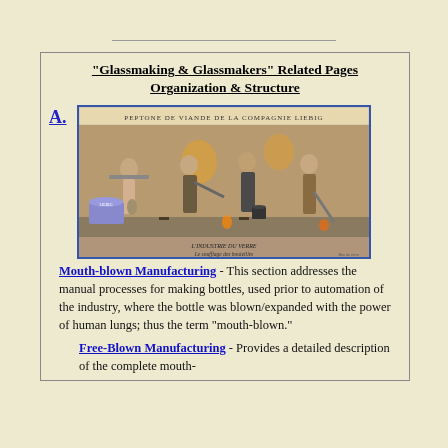"Glassmaking & Glassmakers" Related Pages Organization & Structure
[Figure (illustration): Historical illustration of glassmakers working in a factory, labeled 'PEPTONE DE VIANDE DE LA COMPAGNIE LIEBIG' at top and 'L'INDUSTRIE DU VERRE - Le soufflage des bouteilles' at bottom. Shows workers manually blowing and shaping glass bottles in an industrial setting.]
Mouth-blown Manufacturing - This section addresses the manual processes for making bottles, used prior to automation of the industry, where the bottle was blown/expanded with the power of human lungs; thus the term "mouth-blown."
Free-Blown Manufacturing - Provides a detailed description of the complete mouth-